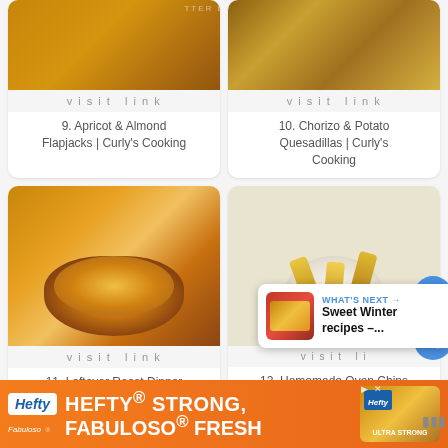[Figure (photo): Apricot and almond flapjacks stacked on a plate]
visit link
9. Apricot & Almond Flapjacks | Curly's Cooking
[Figure (photo): Chorizo and potato quesadillas with dipping sauce]
visit link
10. Chorizo & Potato Quesadillas | Curly's Cooking
[Figure (photo): Leftover roast dinner pizza on a wooden board]
visit link
11. Leftover Roast Dinner Pizza | FeastGloriousFeast
[Figure (photo): Homemade oven chips in a white bowl]
visit li
12. Homemade Oven Chips Slimming style - Easy Peasy
[Figure (screenshot): What's Next popup: Sweet Winter recipes]
[Figure (infographic): Hefty Strong, Fabuloso Fresh advertisement banner]